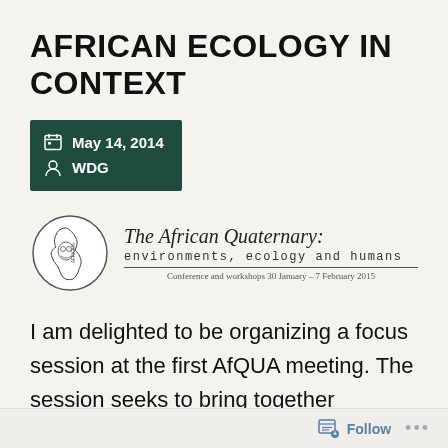AFRICAN ECOLOGY IN CONTEXT
May 14, 2014
WDG
[Figure (logo): The African Quaternary conference logo: a circle with outline map of Africa and a skull/face illustration inside, next to text reading 'The African Quaternary: environments, ecology and humans — Conference and workshops 30 January – 7 February 2015']
I am delighted to be organizing a focus session at the first AfQUA meeting. The session seeks to bring together ecologists and
Follow  •••